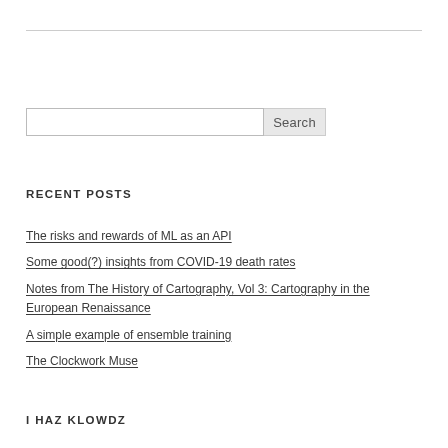RECENT POSTS
The risks and rewards of ML as an API
Some good(?) insights from COVID-19 death rates
Notes from The History of Cartography, Vol 3: Cartography in the European Renaissance
A simple example of ensemble training
The Clockwork Muse
I HAZ KLOWDZ